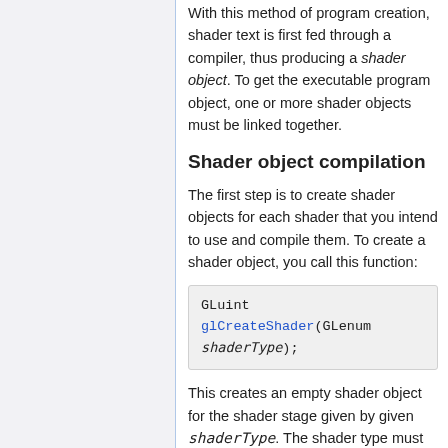With this method of program creation, shader text is first fed through a compiler, thus producing a shader object. To get the executable program object, one or more shader objects must be linked together.
Shader object compilation
The first step is to create shader objects for each shader that you intend to use and compile them. To create a shader object, you call this function:
GLuint glCreateShader(GLenum shaderType);
This creates an empty shader object for the shader stage given by given shaderType. The shader type must be one of GL_VERTEX_SHADER, GL_TESS_CONTROL_SHADER,